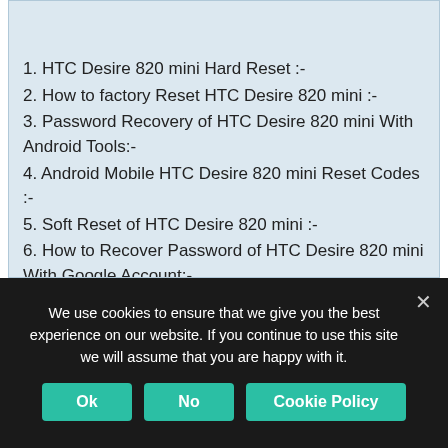Table of Contents
1. HTC Desire 820 mini Hard Reset :-
2. How to factory Reset HTC Desire 820 mini :-
3. Password Recovery of HTC Desire 820 mini With Android Tools:-
4. Android Mobile HTC Desire 820 mini Reset Codes :-
5. Soft Reset of HTC Desire 820 mini :-
6. How to Recover Password of HTC Desire 820 mini With Google Account:-
6.1. Method 1 : password recovery with Google security question (Unlock Screen Pattern)
6.2. Method 2 :- Unlock the screen pattern with
We use cookies to ensure that we give you the best experience on our website. If you continue to use this site we will assume that you are happy with it.